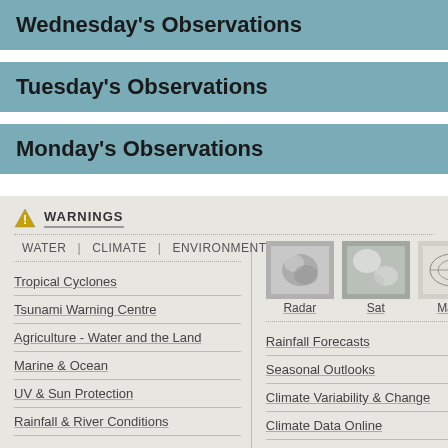Wednesday's Observations
Tuesday's Observations
Monday's Observations
WARNINGS
WATER | CLIMATE | ENVIRONMENT
Tropical Cyclones
Tsunami Warning Centre
Agriculture - Water and the Land
Marine & Ocean
UV & Sun Protection
Rainfall & River Conditions
[Figure (photo): Radar thumbnail image]
[Figure (photo): Satellite thumbnail image]
[Figure (map): Maps thumbnail image]
Rainfall Forecasts
Seasonal Outlooks
Climate Variability & Change
Climate Data Online
Seasonal Streamflow Forecasts
Water Storage
© Copyright Commonwealth of Australia 2022, Bureau of Meteorol